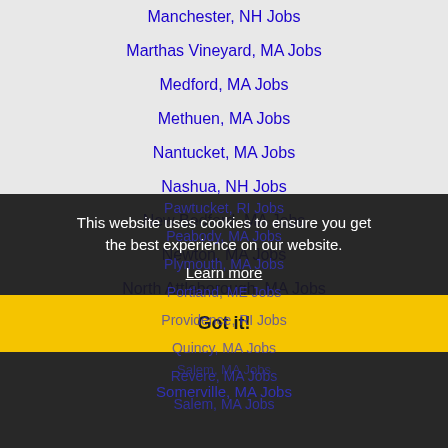Manchester, NH Jobs
Marthas Vineyard, MA Jobs
Medford, MA Jobs
Methuen, MA Jobs
Nantucket, MA Jobs
Nashua, NH Jobs
New Bedford, MA Jobs
Newton, MA Jobs
North Attleborough, MA Jobs
Pawtucket, RI Jobs
Peabody, MA Jobs
Plymouth, MA Jobs
Portland, ME Jobs
Providence, RI Jobs
Quincy, MA Jobs
Revere, MA Jobs
Salem, MA Jobs
This website uses cookies to ensure you get the best experience on our website.
Learn more
Got it!
Somerville, MA Jobs